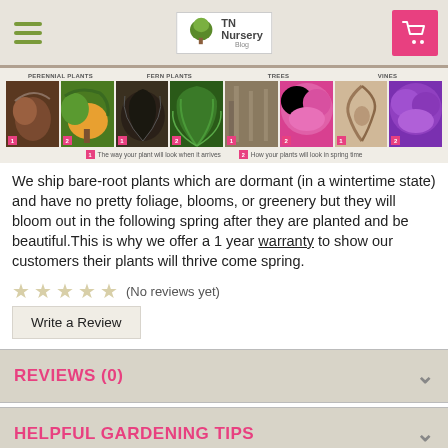[Figure (screenshot): Website header with hamburger menu icon (green lines), TN Nursery logo in center, and pink shopping cart button on right]
[Figure (photo): Navigation strip showing plant category images: Perennial Plants, Fern Plants, Trees, Vines — each with two photos showing dormant arrival state (badge 1) and spring bloom state (badge 2), with caption legend below]
We ship bare-root plants which are dormant (in a wintertime state) and have no pretty foliage, blooms, or greenery but they will bloom out in the following spring after they are planted and be beautiful.This is why we offer a 1 year warranty to show our customers their plants will thrive come spring.
★★★★★ (No reviews yet)
Write a Review
REVIEWS (0)
HELPFUL GARDENING TIPS